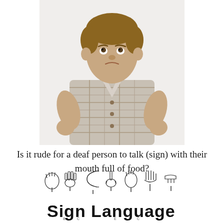[Figure (photo): A young boy with light brown hair wearing a plaid short-sleeved shirt, standing with both hands on his hips, looking upward with a pouty/stubborn expression, photographed against a white background]
Is it rude for a deaf person to talk (sign) with their mouth full of food?
[Figure (illustration): Sign Language logo illustration showing multiple hands forming various ASL letter signs above large bold text reading 'Sign Language']